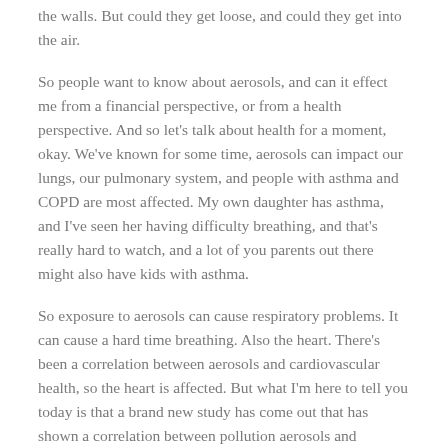the walls. But could they get loose, and could they get into the air.
So people want to know about aerosols, and can it effect me from a financial perspective, or from a health perspective. And so let's talk about health for a moment, okay. We've known for some time, aerosols can impact our lungs, our pulmonary system, and people with asthma and COPD are most affected. My own daughter has asthma, and I've seen her having difficulty breathing, and that's really hard to watch, and a lot of you parents out there might also have kids with asthma.
So exposure to aerosols can cause respiratory problems. It can cause a hard time breathing. Also the heart. There's been a correlation between aerosols and cardiovascular health, so the heart is affected. But what I'm here to tell you today is that a brand new study has come out that has shown a correlation between pollution aerosols and dementia in older women.
So now we're saying these aerosols can impact our brain...